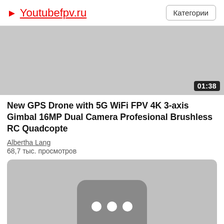▶ Youtubefpv.ru   Категории
[Figure (screenshot): Video thumbnail placeholder — gray rectangle with duration badge showing 01:38]
New GPS Drone with 5G WiFi FPV 4K 3-axis Gimbal 16MP Dual Camera Profesional Brushless RC Quadcopte
Albertha Lang
68,7 тыс. просмотров
[Figure (screenshot): Video thumbnail with YouTube-style placeholder icon (rounded square with three dots) on gray background]